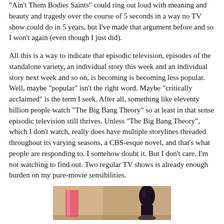“Ain’t Them Bodies Saints” could ring out loud with meaning and beauty and tragedy over the course of 5 seconds in a way no TV show could do in 5 years, but I’ve made that argument before and so I won’t again (even though I just did).
All this is a way to indicate that episodic television, episodes of the standalone variety, an individual story this week and an individual story next week and so on, is becoming is becoming less popular. Well, maybe “popular” isn’t the right word. Maybe “critically acclaimed” is the term I seek. After all, something like eleventy billion people watch “The Big Bang Theory” so at least in that sense episodic television still thrives. Unless “The Big Bang Theory”, which I don’t watch, really does have multiple storylines threaded throughout its varying seasons, a CBS-esque novel, and that’s what people are responding to. I somehow doubt it. But I don’t care. I’m not watching to find out. Two regular TV shows is already enough burden on my pure-movie sensibilities.
[Figure (photo): Partial photo showing what appears to be a pink candle or cylindrical object on the left and a dark decorative bottle or vase on the right, on a surface.]